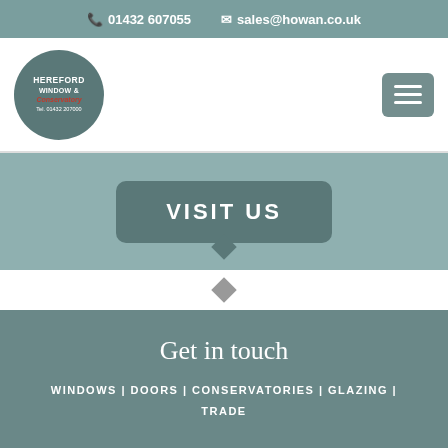📞 01432 607055  ✉ sales@howan.co.uk
[Figure (logo): Hereford Window & Conservatory logo in a dark teal circle]
[Figure (other): Hamburger menu button (three horizontal lines) on grey rounded rectangle]
VISIT US
Get in touch
WINDOWS | DOORS | CONSERVATORIES | GLAZING | TRADE